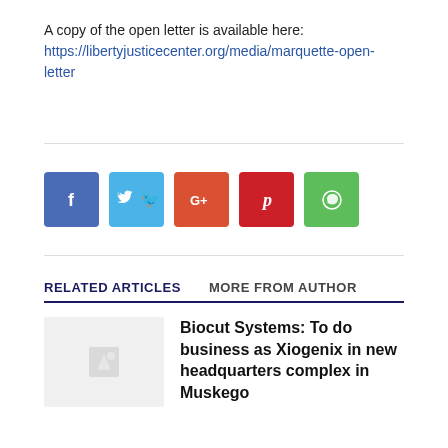A copy of the open letter is available here: https://libertyjusticecenter.org/media/marquette-open-letter
[Figure (infographic): Row of 5 social media share buttons: Facebook (blue), Twitter (light blue), Google+ (orange-red), Pinterest (red), WhatsApp (green)]
RELATED ARTICLES  MORE FROM AUTHOR
Biocut Systems: To do business as Xiogenix in new headquarters complex in Muskego